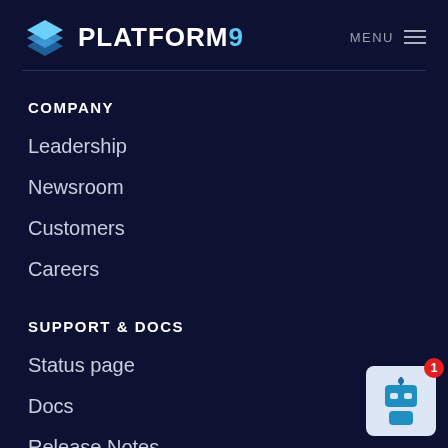PLATFORM9  MENU
COMPANY
Leadership
Newsroom
Customers
Careers
SUPPORT & DOCS
Status page
Docs
Release Notes
Privacy & Terms of Use
Contact Support
[Figure (illustration): Chatbot widget icon with red badge showing '1']